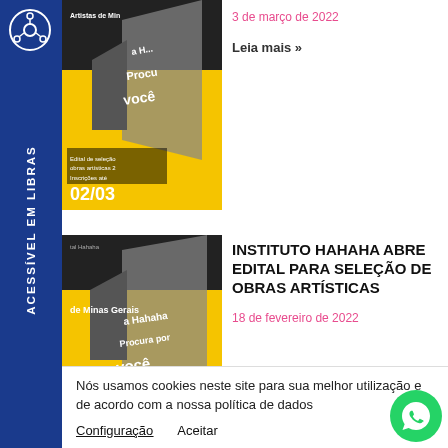[Figure (illustration): Top article thumbnail: yellow and black artistic poster with stylized megaphone/speaker image, text 'Artistas de Minas', 'Edital de seleção obras artísticas', 'Inscrições até 02/03']
3 de março de 2022
Leia mais »
[Figure (illustration): Bottom article thumbnail: yellow and black artistic poster with stylized megaphone/speaker image, text 'Instituto Hahaha', 'Artistas de Minas Gerais', 'a Hahaha Procura por vocês']
INSTITUTO HAHAHA ABRE EDITAL PARA SELEÇÃO DE OBRAS ARTÍSTICAS
18 de fevereiro de 2022
ACESSÍVEL EM LIBRAS
Nós usamos cookies neste site para sua melhor utilização e de acordo com a nossa política de dados
Configuração
Aceitar